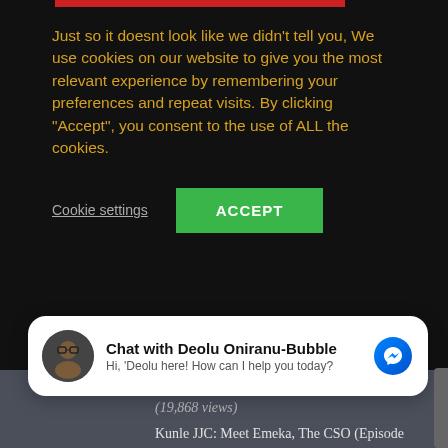Just so it doesnt look like we didn't tell you, We use cookies on our website to give you the most relevant experience by remembering your preferences and repeat visits. By clicking "Accept", you consent to the use of ALL the cookies.
Cookie settings   ACCEPT
Crazy Lenny: Eman, The Virgin++ (18+) (19,868 views)
Average Joe: Helping the Neighbour's Wife [Finale] (18+) (19,296 views)
Kunle JJC: Meet Emeka, The CSO (Episode 3) (18+) (18,559 views)
Chat with Deolu Oniranu-Bubble
Hi, 'Deolu here! How can I help you today?
Kunle JJC: Meet Emeka, The CSO (Episode